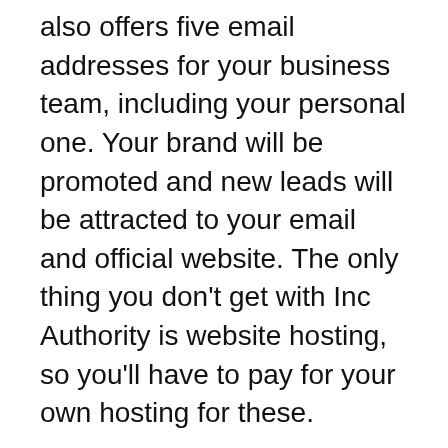also offers five email addresses for your business team, including your personal one. Your brand will be promoted and new leads will be attracted to your email and official website. The only thing you don't get with Inc Authority is website hosting, so you'll have to pay for your own hosting for these.
Among the many options available, Inc Authority offers a variety of pricing options. You can purchase additional services depending on the type website you require, or you can sign up for a business bundle. Prices aren't readily disclosed on the website, however, so you'll need to contact the company to inquire about their pricing options. You can also choose to pay per hour